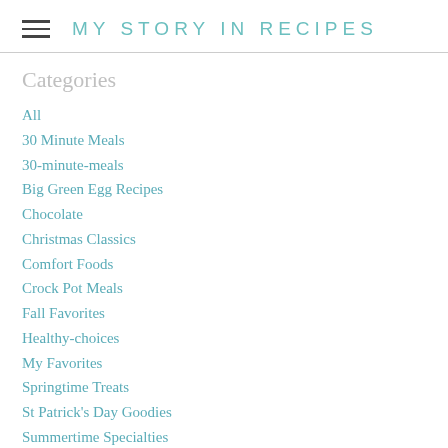MY STORY IN RECIPES
Categories
All
30 Minute Meals
30-minute-meals
Big Green Egg Recipes
Chocolate
Christmas Classics
Comfort Foods
Crock Pot Meals
Fall Favorites
Healthy-choices
My Favorites
Springtime Treats
St Patrick's Day Goodies
Summertime Specialties
Thanksgiving Classics